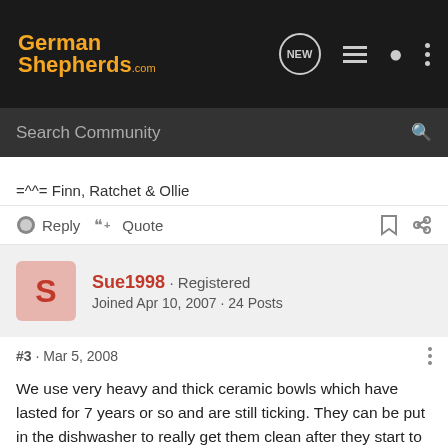[Figure (screenshot): GermanShepherds.com website navigation bar with logo, NEW button, list icon, user icon, and more options dots]
[Figure (screenshot): Search Community search bar with magnifying glass icon]
=^^= Finn, Ratchet & Ollie
Reply   Quote
Sue1998 · Registered
Joined Apr 10, 2007 · 24 Posts
#3 · Mar 5, 2008
We use very heavy and thick ceramic bowls which have lasted for 7 years or so and are still ticking. They can be put in the dishwasher to really get them clean after they start to get slimy. Dogs can't nudge them a lot or pick them up since they are so darned heavy. We use a boot tray under them to catch any spills or sloppiness.